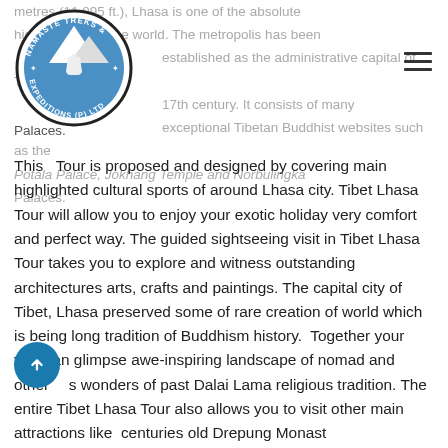[Figure (logo): Namaste Treks & Expeditions (P) Ltd circular logo with mountain and praying hands]
metres (11,995 ft.), Lhasa is one of the absolute highest cities in the world. The metropolis has been established as the administrative capital of Tibet due to its 17th century. It consists of many exceptional Tibetan Buddhist websites such as the Potala Palace, Jokhang Temple and Norbulingka Palaces.
This Tour is proposed and designed by covering main highlighted cultural sports of around Lhasa city. Tibet Lhasa Tour will allow you to enjoy your exotic holiday very comfort and perfect way. The guided sightseeing visit in Tibet Lhasa Tour takes you to explore and witness outstanding architectures arts, crafts and paintings. The capital city of Tibet, Lhasa preserved some of rare creation of world which is being long tradition of Buddhism history. Together your visit can glimpse awe-inspiring landscape of nomad and other wonders of past Dalai Lama religious tradition. The entire Tibet Lhasa Tour also allows you to visit other main attractions like centuries old Drepung Monastery